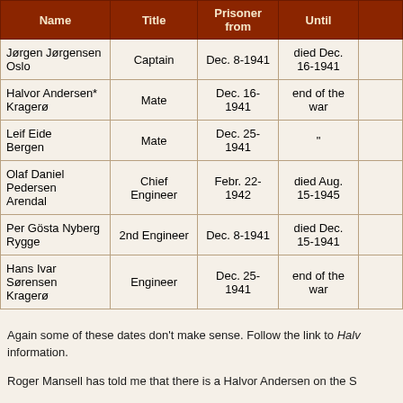| Name | Title | Prisoner from | Until |  |
| --- | --- | --- | --- | --- |
| Jørgen Jørgensen Oslo | Captain | Dec. 8-1941 | died Dec. 16-1941 |  |
| Halvor Andersen* Kragerø | Mate | Dec. 16-1941 | end of the war |  |
| Leif Eide Bergen | Mate | Dec. 25-1941 | " |  |
| Olaf Daniel Pedersen Arendal | Chief Engineer | Febr. 22-1942 | died Aug. 15-1945 |  |
| Per Gösta Nyberg Rygge | 2nd Engineer | Dec. 8-1941 | died Dec. 15-1941 |  |
| Hans Ivar Sørensen Kragerø | Engineer | Dec. 25-1941 | end of the war |  |
Again some of these dates don't make sense. Follow the link to Halvor Andersen for more information.
Roger Mansell has told me that there is a Halvor Andersen on the S...